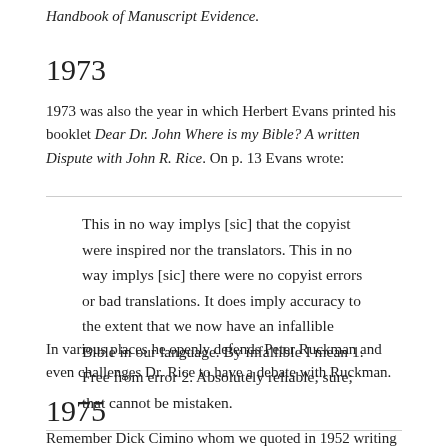Handbook of Manuscript Evidence.
1973
1973 was also the year in which Herbert Evans printed his booklet Dear Dr. John Where is my Bible? A written Dispute with John R. Rice. On p. 13 Evans wrote:
This in no way implys [sic] that the copyist were inspired nor the translators. This in no way implys [sic] there were no copyist errors or bad translations. It does imply accuracy to the extent that we now have an infallible Bible in our language. By infallible I mean 1. Free from error 2. Absolutely reliable; sure; that cannot be mistaken.
In various places he openly defends Peter Ruckman and even challenges Dr. Rice to have a debate with Ruckman.
1975
Remember Dick Cimino whom we quoted in 1952 writing that the KJV